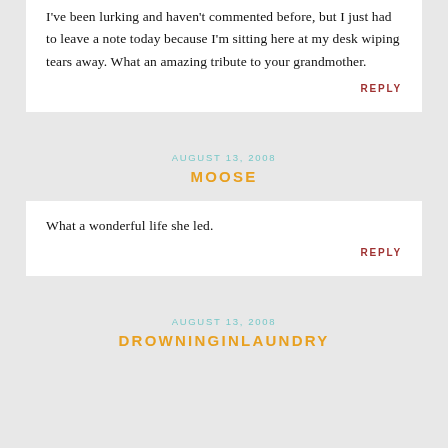I've been lurking and haven't commented before, but I just had to leave a note today because I'm sitting here at my desk wiping tears away. What an amazing tribute to your grandmother.
REPLY
AUGUST 13, 2008
MOOSE
What a wonderful life she led.
REPLY
AUGUST 13, 2008
DROWNINGINLAUNDRY